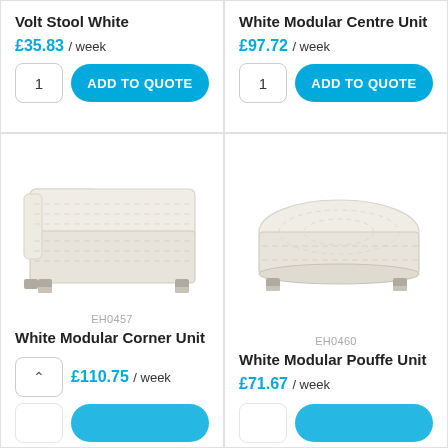Volt Stool White
£35.83 / week
White Modular Centre Unit
£97.72 / week
[Figure (photo): White modular corner sofa unit with quilted upholstery and chrome feet, product code EH0457]
EH0457
White Modular Corner Unit
£110.75 / week
[Figure (photo): White modular pouffe/ottoman unit with chrome feet, product code EH0460]
EH0460
White Modular Pouffe Unit
£71.67 / week